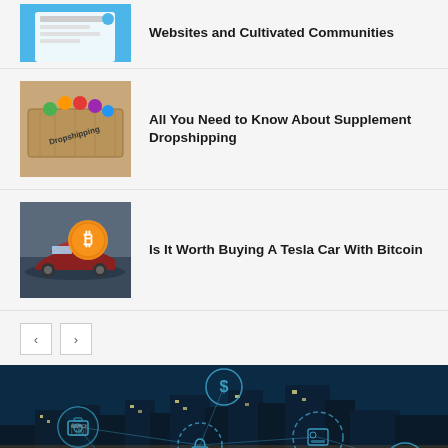Websites and Cultivated Communities
[Figure (photo): Screenshot/icon image related to websites]
[Figure (photo): Photo of wooden block with 'Dropshipping' text and colorful icons]
All You Need to Know About Supplement Dropshipping
[Figure (photo): Photo of Tesla car with Bitcoin coin overlay]
Is It Worth Buying A Tesla Car With Bitcoin
Pagination: previous and next buttons
[Figure (photo): City skyline at night with fintech/digital icons overlay including dollar, lock, bank, camera, shopping cart symbols]